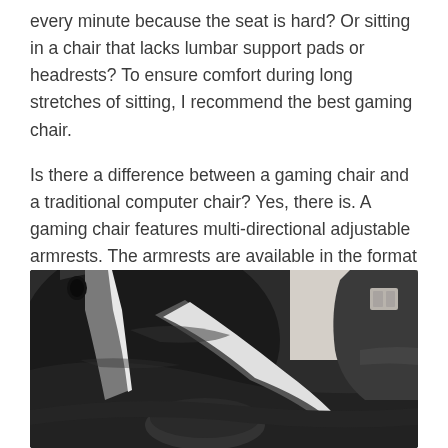every minute because the seat is hard? Or sitting in a chair that lacks lumbar support pads or headrests? To ensure comfort during long stretches of sitting, I recommend the best gaming chair.

Is there a difference between a gaming chair and a traditional computer chair? Yes, there is. A gaming chair features multi-directional adjustable armrests. The armrests are available in the format of 2D and 4D, where “D” stands for Directional.
[Figure (photo): Close-up photograph of a gaming chair showing its black leather seat, backrest, and adjustable armrests with white accent trim. A second gaming chair is partially visible in the background on the right side.]